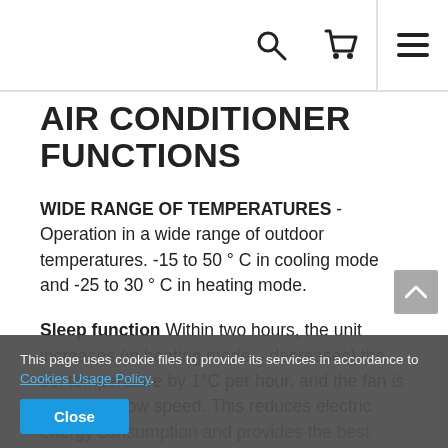AIR CONDITIONER FUNCTIONS
WIDE RANGE OF TEMPERATURES - Operation in a wide range of outdoor temperatures. -15 to 50 ° C in cooling mode and -25 to 30 ° C in heating mode.
Sleep function Within two hours, the unit increases (in heating mode – decreases) the set temperature by 1°C per hour, and the fan is running at low speed. This reduces electric energy consumption and provides the best comfort for the user
This page uses cookie files to provide its services in accordance to Cookies Usage Policy. Close
compounds and volatile for mandatory purposes.